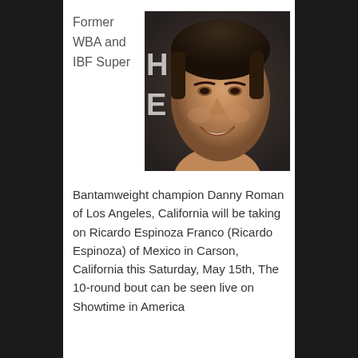Former WBA and IBF Super
[Figure (photo): Portrait photo of Danny Roman, a young man smiling at the camera against a dark background]
Bantamweight champion Danny Roman of Los Angeles, California will be taking on Ricardo Espinoza Franco (Ricardo Espinoza) of Mexico in Carson, California this Saturday, May 15th. The 10-round bout can be seen live on Showtime in America